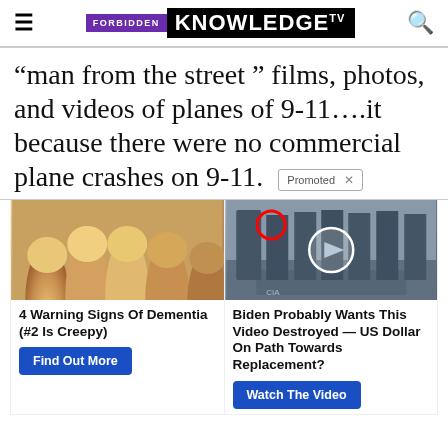FORBIDDEN KNOWLEDGE TV
“man from the street ” films, photos, and videos of planes of 9-11….it because there were no commercial plane crashes on 9-11.
[Figure (photo): Left: close-up photo of yellowed/discolored fingertips. Right: group of men in suits standing in front of what appears to be a CIA logo floor, with a red circle highlighting one person and a play button overlay.]
4 Warning Signs Of Dementia (#2 Is Creepy)
Find Out More
Biden Probably Wants This Video Destroyed — US Dollar On Path Towards Replacement?
Watch The Video